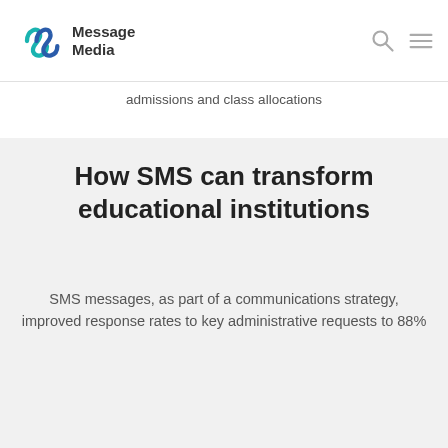Message Media
admissions and class allocations
How SMS can transform educational institutions
SMS messages, as part of a communications strategy, improved response rates to key administrative requests to 88%